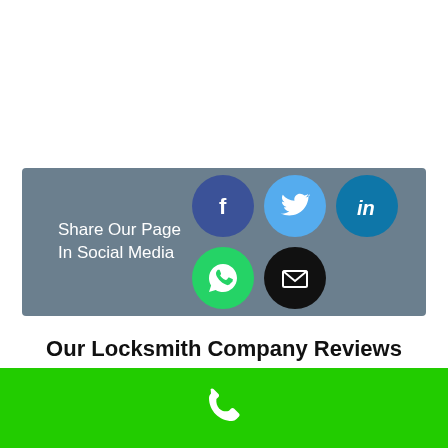[Figure (infographic): Social media sharing banner with text 'Share Our Page In Social Media' and icons for Facebook, Twitter, LinkedIn, WhatsApp, and Email on a slate-blue background]
Our Locksmith Company Reviews
[Figure (infographic): Five gold star icons representing a 5-star rating, with a gray button partially visible]
[Figure (infographic): Green bottom bar with a white phone handset icon]